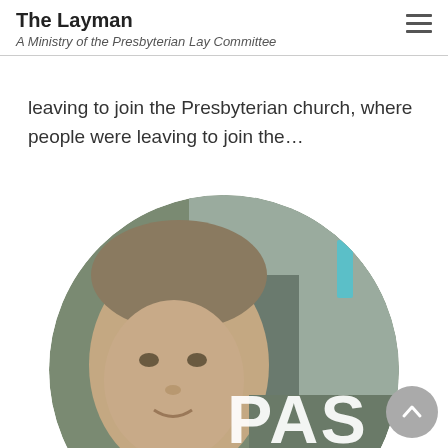The Layman
A Ministry of the Presbyterian Lay Committee
leaving to join the Presbyterian church, where people were leaving to join the...
[Figure (photo): Circular cropped photo of a man (pastor) with overlaid bold white text reading 'PAS' and 'ANDR' (partially visible), a teal accent bar, and a muted green-grey background.]